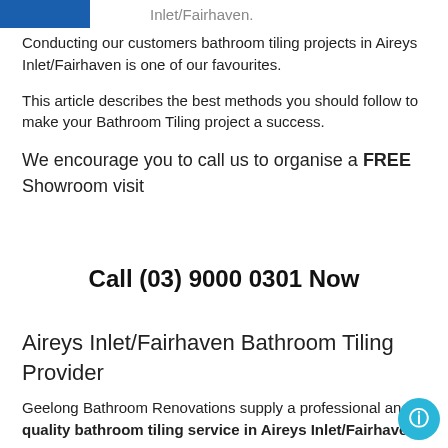[Figure (photo): Partial image strip at top showing a blue image and faded text reading 'Inlet/Fairhaven.']
Conducting our customers bathroom tiling projects in Aireys Inlet/Fairhaven is one of our favourites.
This article describes the best methods you should follow to make your Bathroom Tiling project a success.
We encourage you to call us to organise a FREE Showroom visit
Call (03) 9000 0301 Now
Aireys Inlet/Fairhaven Bathroom Tiling Provider
Geelong Bathroom Renovations supply a professional and quality bathroom tiling service in Aireys Inlet/Fairhaven.
We are particularly known for our reputation with our clients…